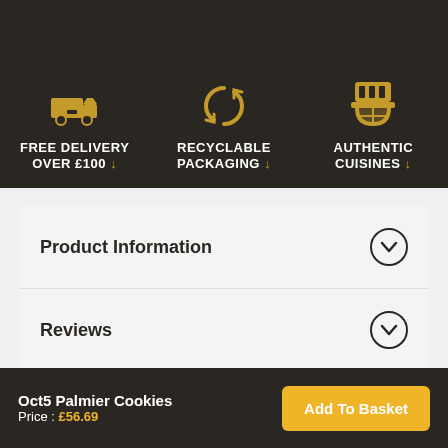[Figure (infographic): Dark banner with three icons and labels: delivery truck icon with 'FREE DELIVERY OVER £100 ↓', recycling icon with 'RECYCLABLE PACKAGING ↓', and food/noodle bowl icon with 'AUTHENTIC CUISINES ↓']
Product Information
Reviews
Delivery Information
Oct5 Palmier Cookies
Price : £56.69
Add To Basket